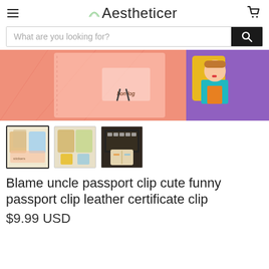Aestheticer
[Figure (screenshot): E-commerce website header with hamburger menu, Aestheticer logo with rainbow arc, and shopping cart icon]
[Figure (screenshot): Search bar with placeholder text 'What are you looking for?' and dark search button with magnifier icon]
[Figure (photo): Product image showing passport clip leather items - pink leather cover with illustrated character and colorful cartoon character on right]
[Figure (photo): Three product thumbnail images showing the passport clip product from different angles]
Blame uncle passport clip cute funny passport clip leather certificate clip
$9.99 USD